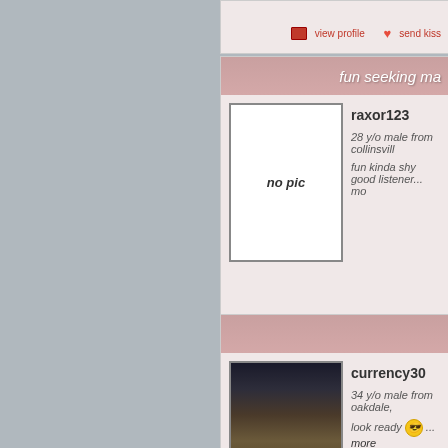[Figure (screenshot): Dating website profile listing page showing user cards. Top partial card with view profile and send kiss actions. Second card for raxor123, 28 y/o male from collinsville, with no pic placeholder. Third card for currency30, 34 y/o male from oakdale, with photo of man in plaid shirt.]
fun seeking ma
raxor123
28 y/o male from collinsville
fun kinda shy good listener... mo
view profile
send kiss
currency30
34 y/o male from oakdale,
look ready 😎 ... more